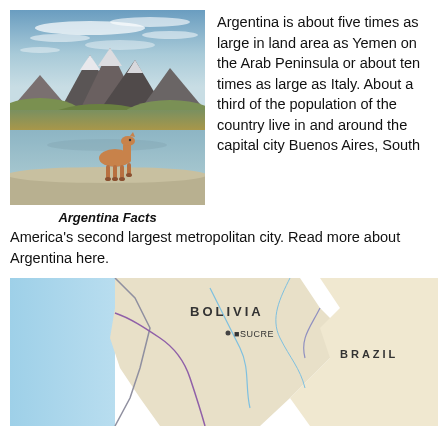[Figure (photo): Landscape photo of Patagonian mountains with a guanaco (llama-like animal) standing in shallow water in the foreground, dramatic sky with clouds above rocky peaks]
Argentina Facts
Argentina is about five times as large in land area as Yemen on the Arab Peninsula or about ten times as large as Italy. About a third of the population of the country live in and around the capital city Buenos Aires, South America's second largest metropolitan city. Read more about Argentina here.
[Figure (map): Partial map showing Bolivia (with Sucre labeled), Brazil, and surrounding South American region with colored territories and borders]